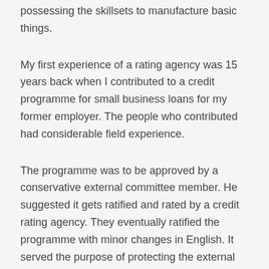possessing the skillsets to manufacture basic things.
My first experience of a rating agency was 15 years back when I contributed to a credit programme for small business loans for my former employer. The people who contributed had considerable field experience.
The programme was to be approved by a conservative external committee member. He suggested it gets ratified and rated by a credit rating agency. They eventually ratified the programme with minor changes in English. It served the purpose of protecting the external member and also a good sales pitch to investors.